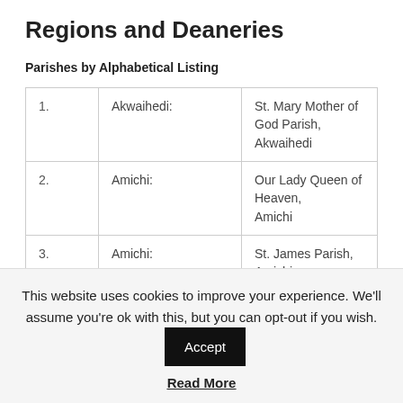Regions and Deaneries
Parishes by Alphabetical Listing
|  |  |  |
| --- | --- | --- |
| 1. | Akwaihedi: | St. Mary Mother of God Parish, Akwaihedi |
| 2. | Amichi: | Our Lady Queen of Heaven, Amichi |
| 3. | Amichi: | St. James Parish, Amichi |
| 4. | Amichi: | St. Hyacinth Parish, Amichi |
| 5. | Azia: | St. Andrew's Parish, Azia |
This website uses cookies to improve your experience. We'll assume you're ok with this, but you can opt-out if you wish. Accept
Read More